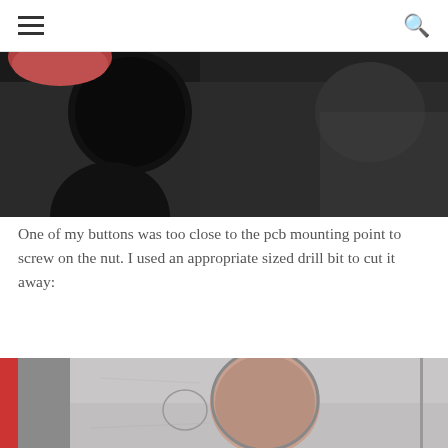≡  🔍
[Figure (photo): Close-up photo of black circular buttons/holes on a dark PCB or panel, with a reddish finger visible at top left]
One of my buttons was too close to the pcb mounting point to screw on the nut.  I used an appropriate sized drill bit to cut it away:
[Figure (photo): Photo of a metallic panel with a large circular hole drilled/cut out, with a smaller circular impression visible to the left, and a red element visible at the far left edge]